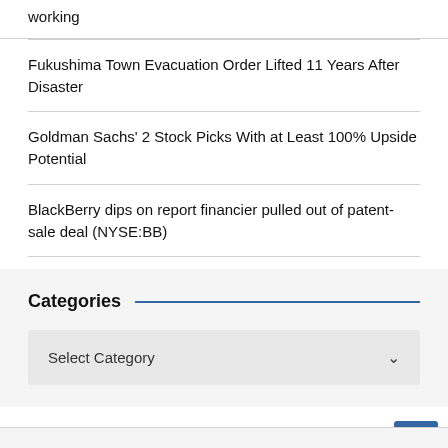working
Fukushima Town Evacuation Order Lifted 11 Years After Disaster
Goldman Sachs' 2 Stock Picks With at Least 100% Upside Potential
BlackBerry dips on report financier pulled out of patent-sale deal (NYSE:BB)
Categories
Select Category